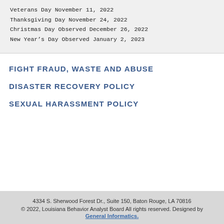Veterans Day November 11, 2022
Thanksgiving Day November 24, 2022
Christmas Day Observed December 26, 2022
New Year's Day Observed January 2, 2023
FIGHT FRAUD, WASTE AND ABUSE
DISASTER RECOVERY POLICY
SEXUAL HARASSMENT POLICY
4334 S. Sherwood Forest Dr., Suite 150, Baton Rouge, LA 70816
© 2022, Louisiana Behavior Analyst Board All rights reserved. Designed by General Informatics.